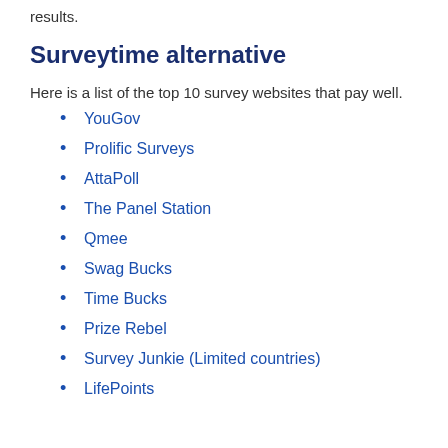results.
Surveytime alternative
Here is a list of the top 10 survey websites that pay well.
YouGov
Prolific Surveys
AttaPoll
The Panel Station
Qmee
Swag Bucks
Time Bucks
Prize Rebel
Survey Junkie (Limited countries)
LifePoints